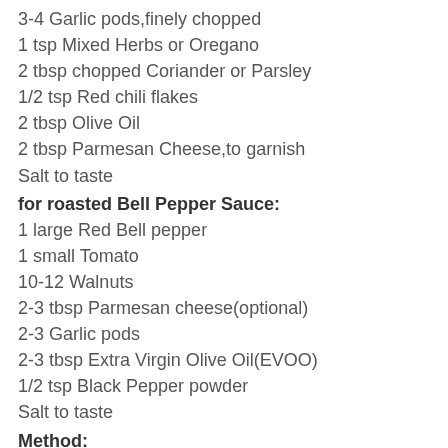3-4 Garlic pods,finely chopped
1 tsp Mixed Herbs or Oregano
2 tbsp chopped Coriander or Parsley
1/2 tsp Red chili flakes
2 tbsp Olive Oil
2 tbsp Parmesan Cheese,to garnish
Salt to taste
for roasted Bell Pepper Sauce:
1 large Red Bell pepper
1 small Tomato
10-12 Walnuts
2-3 tbsp Parmesan cheese(optional)
2-3 Garlic pods
2-3 tbsp Extra Virgin Olive Oil(EVOO)
1/2 tsp Black Pepper powder
Salt to taste
Method:
to prepare Roasted Red Bell Pepper Sauce :
Wash and wipe the red bell pepper and tomato and apply oil all over it and roast them on open flame until they are charred completely by turning